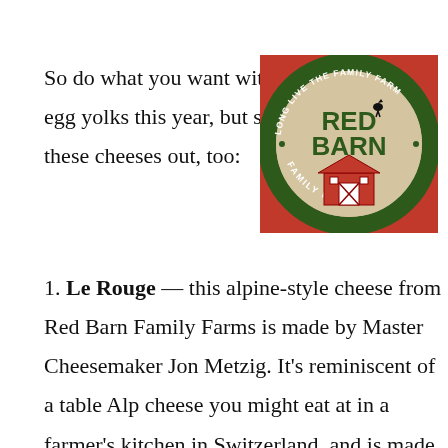So do what you want with egg yolks this year, but seek these cheeses out, too:
[Figure (logo): Red Barn Family Farms circular logo with text 'Long Live the Family Farm' around the top, 'Red Barn' in large green letters, 'Family Farms' along the bottom, and a red barn illustration in the center, set against a red wooden background.]
1. Le Rouge — this alpine-style cheese from Red Barn Family Farms is made by Master Cheesemaker Jon Metzig. It's reminiscent of a table Alp cheese you might eat at in a farmer's kitchen in Switzerland, and is made from the milk of six Wisconsin dairy farmers who all follow the